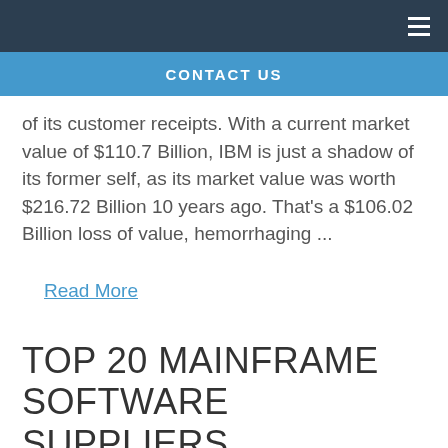CONTACT US
of its customer receipts. With a current market value of $110.7 Billion, IBM is just a shadow of its former self, as its market value was worth $216.72 Billion 10 years ago. That's a $106.02 Billion loss of value, hemorrhaging ...
Read More
TOP 20 MAINFRAME SOFTWARE SUPPLIERS